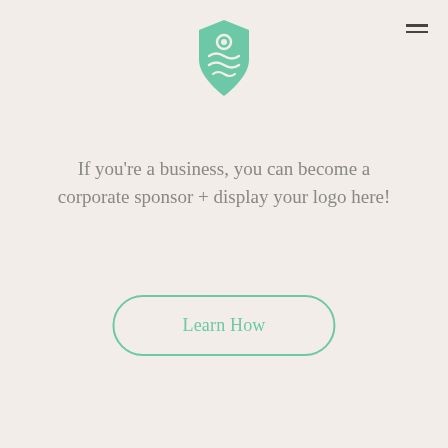[Figure (logo): Green shield-shaped logo with abstract wave/owl design]
If you're a business, you can become a corporate sponsor + display your logo here!
Learn How